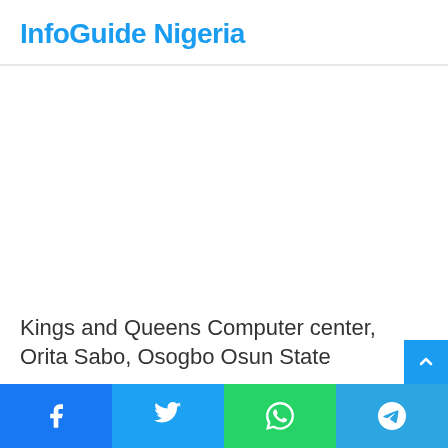InfoGuide Nigeria
[Figure (other): Advertisement area (blank white space)]
Kings and Queens Computer center, Orita Sabo, Osogbo Osun State